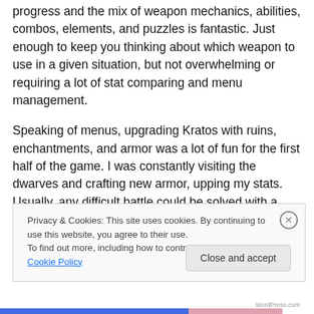progress and the mix of weapon mechanics, abilities, combos, elements, and puzzles is fantastic. Just enough to keep you thinking about which weapon to use in a given situation, but not overwhelming or requiring a lot of stat comparing and menu management.
Speaking of menus, upgrading Kratos with ruins, enchantments, and armor was a lot of fun for the first half of the game. I was constantly visiting the dwarves and crafting new armor, upping my stats. Usually, any difficult battle could be solved with a visit to the forge.
Privacy & Cookies: This site uses cookies. By continuing to use this website, you agree to their use.
To find out more, including how to control cookies, see here: Cookie Policy